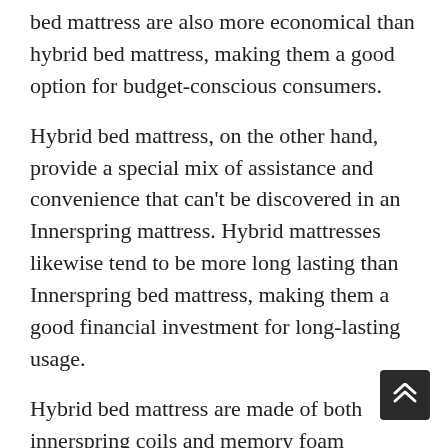bed mattress are also more economical than hybrid bed mattress, making them a good option for budget-conscious consumers.
Hybrid bed mattress, on the other hand, provide a special mix of assistance and convenience that can't be discovered in an Innerspring mattress. Hybrid mattresses likewise tend to be more long lasting than Innerspring bed mattress, making them a good financial investment for long-lasting usage.
Hybrid bed mattress are made of both innerspring coils and memory foam
While Innerspring bed mattress are made from coils only. Innerspring bed mattress are more responsive to motion than hybrid mattresses, making them an excellent choice for individuals who toss and turn at night. Hybrid mattresses are better at isolating movement, making them an excellent choice for individuals who share a bed.